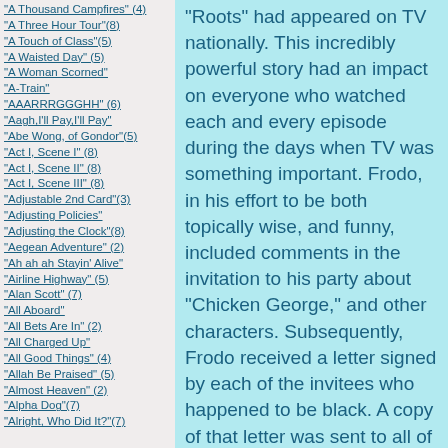"A Thousand Campfires" (4)
"A Three Hour Tour"(8)
"A Touch of Class"(5)
"A Waisted Day" (5)
"A Woman Scorned"
"A-Train"
"AAARRRGGGHH" (6)
"Aagh,I'll Pay,I'll Pay"
"Abe Wong, of Gondor"(5)
"Act I, Scene I" (8)
"Act I, Scene II" (8)
"Act I, Scene III" (8)
"Adjustable 2nd Card"(3)
"Adjusting Policies"
"Adjusting the Clock"(8)
"Aegean Adventure" (2)
"Ah ah ah Stayin' Alive"
"Airline Highway" (5)
"Alan Scott" (7)
"All Aboard"
"All Bets Are In" (2)
"All Charged Up"
"All Good Things" (4)
"Allah Be Praised" (5)
"Almost Heaven" (2)
"Alpha Dog"(7)
"Alright, Who Did It?"(7)
"Roots" had appeared on TV nationally.  This incredibly powerful story had an impact on everyone who watched each and every episode during the days when TV was something important.  Frodo, in his effort to be both topically wise, and funny, included comments in the invitation to his party about "Chicken George," and other characters.  Subsequently, Frodo received a letter signed by each of the invitees who happened to be black.  A copy of that letter was sent to all of those who had been invited to the party.
Frodo was not only humiliated